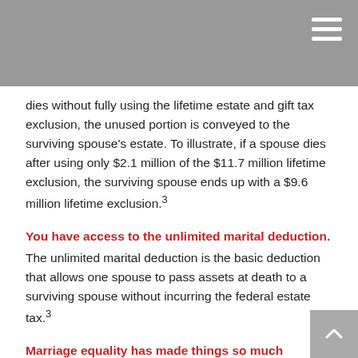dies without fully using the lifetime estate and gift tax exclusion, the unused portion is conveyed to the surviving spouse's estate. To illustrate, if a spouse dies after using only $2.1 million of the $11.7 million lifetime exclusion, the surviving spouse ends up with a $9.6 million lifetime exclusion.³
You have access to the unlimited marital deduction.
The unlimited marital deduction is the basic deduction that allows one spouse to pass assets at death to a surviving spouse without incurring the federal estate tax.³
Marriage equality has made things so much simpler.
The hassle and extra paperwork that some LGBTQ+ couples previously faced at tax time is now, happily, a thing of the past. Remember to check the tax laws in your state